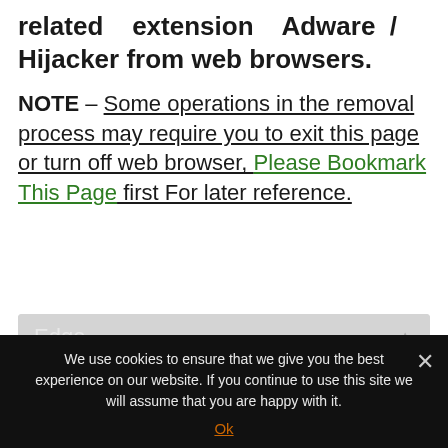related   extension   Adware / Hijacker from web browsers.
NOTE – Some operations in the removal process may require you to exit this page or turn off web browser, Please Bookmark This Page first For later reference.
[Figure (screenshot): UI accordion section labeled 'Edge' with a dark circular upload/scroll-up button on the right side]
We use cookies to ensure that we give you the best experience on our website. If you continue to use this site we will assume that you are happy with it. Ok